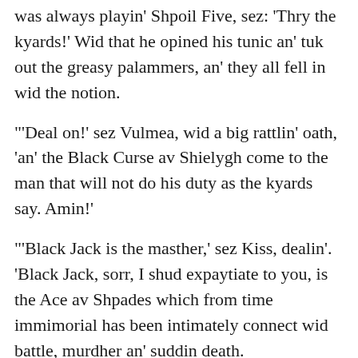was always playin' Shpoil Five, sez: 'Thry the kyards!' Wid that he opined his tunic an' tuk out the greasy palammers, an' they all fell in wid the notion.
'Deal on!' sez Vulmea, wid a big rattlin' oath, 'an' the Black Curse av Shielygh come to the man that will not do his duty as the kyards say. Amin!'
'Black Jack is the masther,' sez Kiss, dealin'. 'Black Jack, sorr, I shud expaytiate to you, is the Ace av Shpades which from time immimorial has been intimately connect wid battle, murdher an' suddin death.